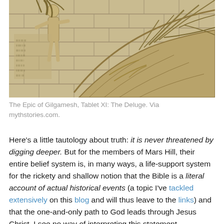[Figure (photo): A stone or plaster relief carving depicting a scene from the Epic of Gilgamesh, Tablet XI: The Deluge. Shows a human figure on the left and a large boat or ark structure with branches/roots on the right, with cuneiform-style inscriptions visible on the wall behind the figure.]
The Epic of Gilgamesh, Tablet XI: The Deluge. Via mythstories.com.
Here's a little tautology about truth: it is never threatened by digging deeper.  But for the members of Mars Hill, their entire belief system is, in many ways, a life-support system for the rickety and shallow notion that the Bible is a literal account of actual historical events (a topic I've tackled extensively on this blog and will thus leave to the links) and that the one-and-only path to God leads through Jesus Christ.  I see no way of interpreting this statement